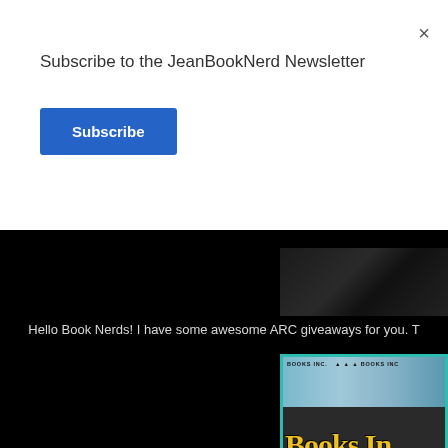Subscribe to the JeanBookNerd Newsletter
Subscribe
[Figure (photo): Book cover image strip, partially visible, dark tones]
Hello Book Nerds! I have some awesome ARC giveaways for you. T
[Figure (photo): Books Inc. bookstore banner image with teal border, showing storefront photos and yellow 'Books In...' logo text on dark background]
I'm here to tell you today, that one of my favorite Book Store; Books Inc. have d
Please click the Banner above to visit their Webs
[Figure (photo): Book cover bottom portion, dark blue background with text 'It takes a lot of air to break free' and author name 'sarah crossan' in yellow-green]
It takes a lot of air to break free
sarah crossan